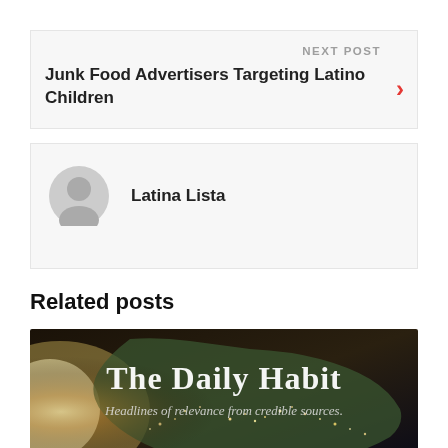NEXT POST
Junk Food Advertisers Targeting Latino Children
Latina Lista
Related posts
[Figure (illustration): The Daily Habit banner image showing a satellite view of North America at night with glowing city lights, with overlay text reading 'The Daily Habit' and subtitle 'Headlines of relevance from credible sources.']